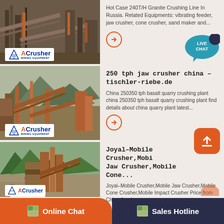[Figure (photo): Mining/crushing equipment facility with ACrusher Mining Equipment logo overlay]
Hot Case 240T/H Granite Crushing Line In Russia. Related Equipments: vibrating feeder, jaw crusher, cone crusher, sand maker and...
[Figure (photo): Mining/crushing facility with mountains in background, ACrusher Mining Equipment logo overlay]
250 tph jaw crusher china – tischler-riebe.de
China 250350 tph basalt quarry crushing plant china 250350 tph basalt quarry crushing plant find details about china quarry plant latest...
[Figure (photo): Large industrial crushing equipment facility near river with mountains, ACrusher logo overlay]
Joyal–Mobile Crusher,Mobile Jaw Crusher,Mobile Cone...
Joyal–Mobile Crusher,Mobile Jaw Crusher,Mobile Cone Crusher,Mobile Impact Crusher Price from China Joyal...
Online Chat
Sales Hotline